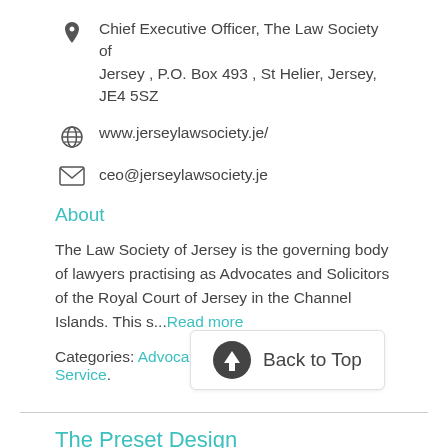Chief Executive Officer, The Law Society of Jersey , P.O. Box 493 , St Helier, Jersey, JE4 5SZ
www.jerseylawsociety.je/
ceo@jerseylawsociety.je
About
The Law Society of Jersey is the governing body of lawyers practising as Advocates and Solicitors of the Royal Court of Jersey in the Channel Islands. This s...Read more
Categories: Advocates/Lawyers, Information Service.
The Preset Design
Sydney, ...
https://thepresetdesign.com/